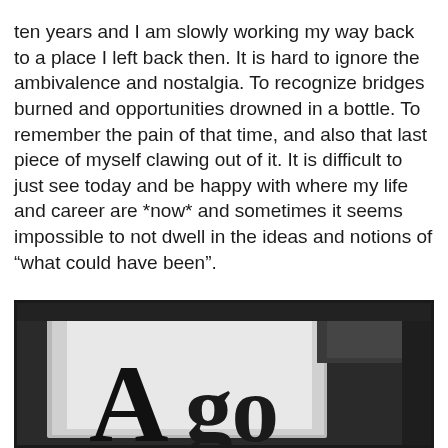ten years and I am slowly working my way back to a place I left back then. It is hard to ignore the ambivalence and nostalgia. To recognize bridges burned and opportunities drowned in a bottle.  To remember the pain of that time, and also that last piece of myself clawing out of it. It is difficult to just see today and be happy with where my life and career are *now* and sometimes it seems impossible to not dwell in the ideas and notions of “what could have been”.
There is a piece I started right after events shook my life a bit loose. I am working on having it finished finally to debut it on the 10 year anniversary of its inception, January 11th, 2007, not even a week after Memories, Remedies, and Nightmares came down.
[Figure (photo): Black and white photograph showing a close-up of artwork or a sign with large serif letters, partially visible, showing 'A' and partial text below in dark artistic style]